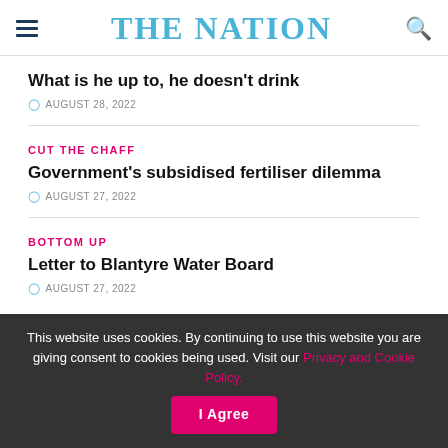THE NATION
What is he up to, he doesn't drink
AUGUST 28, 2022
CUT THE CHAFF
Government's subsidised fertiliser dilemma
AUGUST 27, 2022
BOTTOM UP
Letter to Blantyre Water Board
AUGUST 27, 2022
This website uses cookies. By continuing to use this website you are giving consent to cookies being used. Visit our Privacy and Cookie Policy.